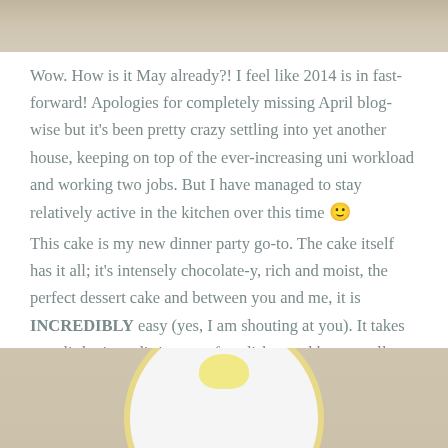[Figure (photo): Top portion of a food/baking photo, showing a light beige/sandy textured surface, cropped at the bottom edge]
Wow. How is it May already?! I feel like 2014 is in fast-forward! Apologies for completely missing April blog-wise but it's been pretty crazy settling into yet another house, keeping on top of the ever-increasing uni workload and working two jobs. But I have managed to stay relatively active in the kitchen over this time 🙂
This cake is my new dinner party go-to. The cake itself has it all; it's intensely chocolate-y, rich and moist, the perfect dessert cake and between you and me, it is INCREDIBLY easy (yes, I am shouting at you). It takes very little time, dirties very few dishes and keeps well (although it never lasts long around here!) To serve, simply dust with icing sugar and top with berries and ice-cream.
[Figure (photo): Bottom portion of a food photo showing a white plate with gold rim containing what appears to be a scoop of ice cream or butter, set on a brown kraft paper background]